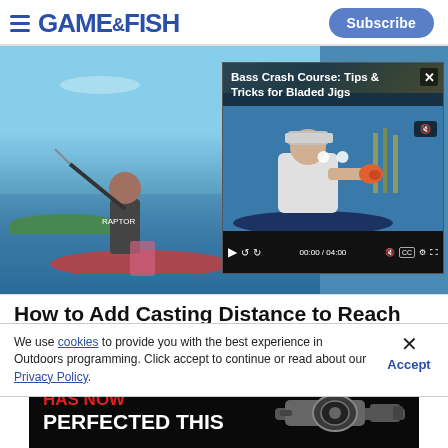GAME&FISH | Subscribe
[Figure (screenshot): Outdoor fishing scene with man in boat, and video overlay showing 'Bass Crash Course: Tips &amp; Tricks for Bladed Jigs' with video player controls showing 00:00 / 04:00]
How to Add Casting Distance to Reach
We use cookies to provide you with the best experience in Outdoors programming. Click accept to continue or read about our Privacy Policy.
Advertisement
[Figure (photo): Advertisement banner with black background showing 'HAS NOW PERFECTED THIS' text in red and white with a gun sight/optic product image]